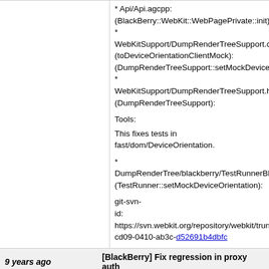* Api/Api.agcpp: (BlackBerry::WebKit::WebPagePrivate::init): * WebKitSupport/DumpRenderTreeSupport.cpp: (toDeviceOrientationClientMock): (DumpRenderTreeSupport::setMockDeviceOrientation): * WebKitSupport/DumpRenderTreeSupport.h: (DumpRenderTreeSupport):

Tools:

This fixes tests in fast/dom/DeviceOrientation.

* DumpRenderTree/blackberry/TestRunnerBlackB (TestRunner::setMockDeviceOrientation):

git-svn-id: https://svn.webkit.org/repository/webkit/trunk@cd09-0410-ab3c-d52691b4dbfc
9 years ago
[BlackBerry] Fix regression in proxy auth
commit | commitdiff | tree
commit-queue@webkit.org [Fri, 5 Oct 2012 18:50:09 +0000 (18:50 +0000)]
[BlackBerry] Fix regression in proxy auth
https://bugs.webkit.org/show_bug.cgi?id=98533

Patch by Joe Mason <jmason@rim.com> on 2012-10-05